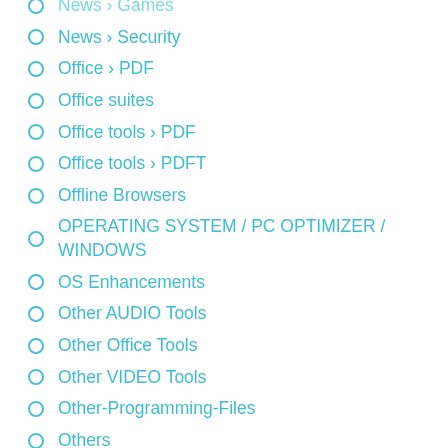News › Games
News › Security
Office › PDF
Office suites
Office tools › PDF
Office tools › PDFT
Offline Browsers
OPERATING SYSTEM / PC OPTIMIZER / WINDOWS
OS Enhancements
Other AUDIO Tools
Other Office Tools
Other VIDEO Tools
Other-Programming-Files
Others
P Tools